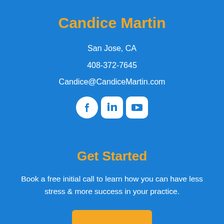Candice Martin
San Jose, CA
408-372-7645
Candice@CandiceMartin.com
[Figure (infographic): Three social media icons: Facebook (circle), LinkedIn (rounded square), YouTube (rounded square)]
Get Started
Book a free initial call to learn how you can have less stress & more success in your practice.